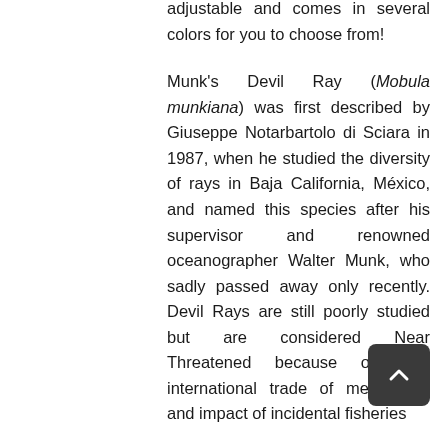adjustable and comes in several colors for you to choose from!
Munk's Devil Ray (Mobula munkiana) was first described by Giuseppe Notarbartolo di Sciara in 1987, when he studied the diversity of rays in Baja California, México, and named this species after his supervisor and renowned oceanographer Walter Munk, who sadly passed away only recently. Devil Rays are still poorly studied but are considered Near Threatened because of their international trade of meat, fins, and impact of incidental fisheries